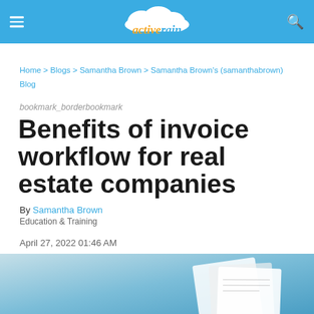activerain
Home > Blogs > Samantha Brown > Samantha Brown's (samanthabrown) Blog
bookmark_borderbookmark
Benefits of invoice workflow for real estate companies
By Samantha Brown
Education & Training
April 27, 2022 01:46 AM
[Figure (photo): Bottom portion showing a document/invoice on a light blue background]